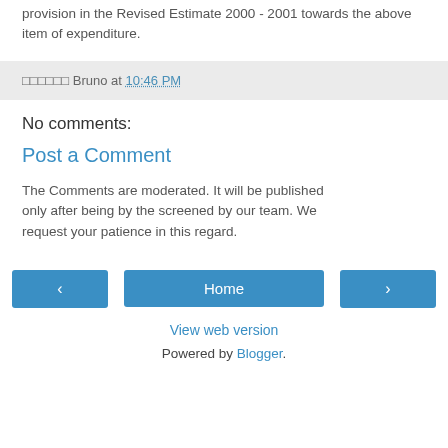provision in the Revised Estimate 2000 - 2001 towards the above item of expenditure.
□□□□□□ Bruno at 10:46 PM
No comments:
Post a Comment
The Comments are moderated. It will be published only after being by the screened by our team. We request your patience in this regard.
‹  Home  ›  View web version  Powered by Blogger.